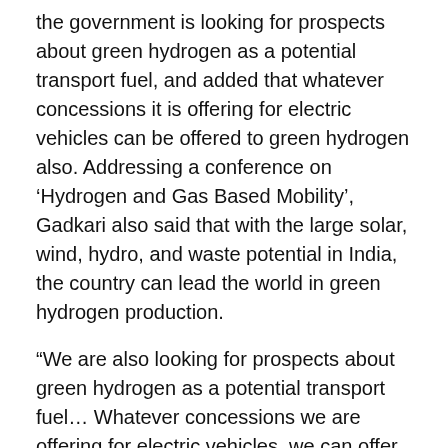the government is looking for prospects about green hydrogen as a potential transport fuel, and added that whatever concessions it is offering for electric vehicles can be offered to green hydrogen also. Addressing a conference on 'Hydrogen and Gas Based Mobility', Gadkari also said that with the large solar, wind, hydro, and waste potential in India, the country can lead the world in green hydrogen production.
“We are also looking for prospects about green hydrogen as a potential transport fuel… Whatever concessions we are offering for electric vehicles, we can offer that concession for green hydrogen also,” he said. The road transport and highways minister stressed that the government is committed for supporting green hydrogen and he will discuss the issue with the finance ministry and the Niti Aayog.